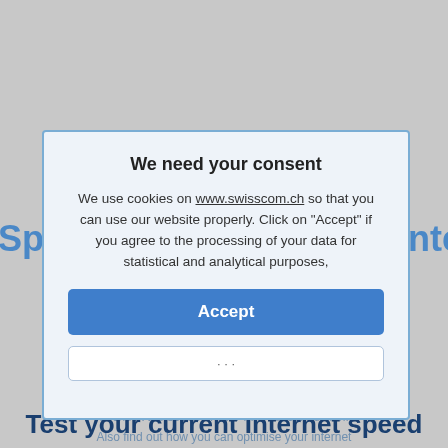Speedtest: Check your Internet speed
How fast could you surf at home? And how fast are you currently surfing? Take the Internet Speedtest to check the speed of your Internet connection. Also find out how you can optimise your internet speed with our additional devices.
We need your consent
We use cookies on www.swisscom.ch so that you can use our website properly. Click on "Accept" if you agree to the processing of your data for statistical and analytical purposes,
Accept
· · ·
Test your current Internet speed